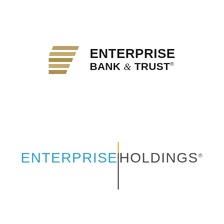[Figure (logo): Enterprise Bank & Trust logo with gold/tan diagonal stripes icon on the left and bold serif text 'ENTERPRISE BANK & TRUST' on the right with registered trademark symbol]
[Figure (logo): Enterprise Holdings logo with 'ENTERPRISE' in blue and 'HOLDINGS.' in dark gray, separated by a vertical line with an orange segment at the top, registered trademark symbol at end]